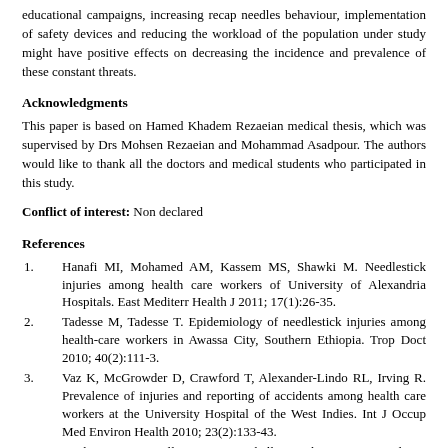educational campaigns, increasing recap needles behaviour, implementation of safety devices and reducing the workload of the population under study might have positive effects on decreasing the incidence and prevalence of these constant threats.
Acknowledgments
This paper is based on Hamed Khadem Rezaeian medical thesis, which was supervised by Drs Mohsen Rezaeian and Mohammad Asadpour. The authors would like to thank all the doctors and medical students who participated in this study.
Conflict of interest: Non declared
References
1. Hanafi MI, Mohamed AM, Kassem MS, Shawki M. Needlestick injuries among health care workers of University of Alexandria Hospitals. East Mediterr Health J 2011; 17(1):26-35.
2. Tadesse M, Tadesse T. Epidemiology of needlestick injuries among health-care workers in Awassa City, Southern Ethiopia. Trop Doct 2010; 40(2):111-3.
3. Vaz K, McGrowder D, Crawford T, Alexander-Lindo RL, Irving R. Prevalence of injuries and reporting of accidents among health care workers at the University Hospital of the West Indies. Int J Occup Med Environ Health 2010; 23(2):133-43.
4. Wicker S, Jung J, Allwinn R, Gottschalk R, Rabenau HF. Prevalence and prevention of needlestick injuries among health care workers in a German